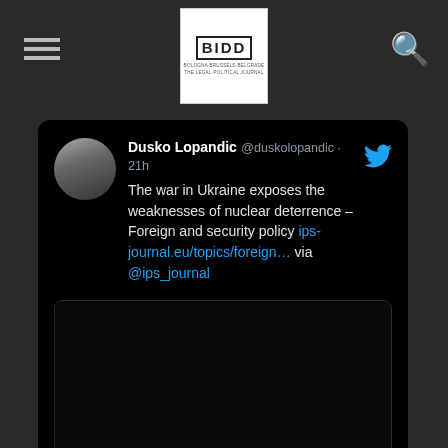[Figure (logo): BIDD organization logo in white square box with hamburger menu icon on left and search icon on right]
Dusko Lopandic @duskolopandic · 21h
The war in Ukraine exposes the weaknesses of nuclear deterrence – Foreign and security policy ips-journal.eu/topics/foreign… via @ips_journal
[Figure (screenshot): Embedded link preview image - dark/black image with link to ips-journal.eu]